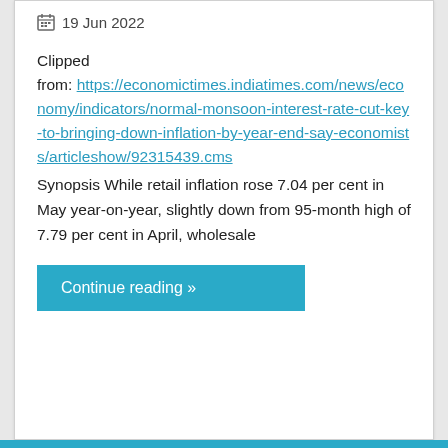📅 19 Jun 2022
Clipped from: https://economictimes.indiatimes.com/news/economy/indicators/normal-monsoon-interest-rate-cut-key-to-bringing-down-inflation-by-year-end-say-economists/articleshow/92315439.cms
Synopsis While retail inflation rose 7.04 per cent in May year-on-year, slightly down from 95-month high of 7.79 per cent in April, wholesale
Continue reading »